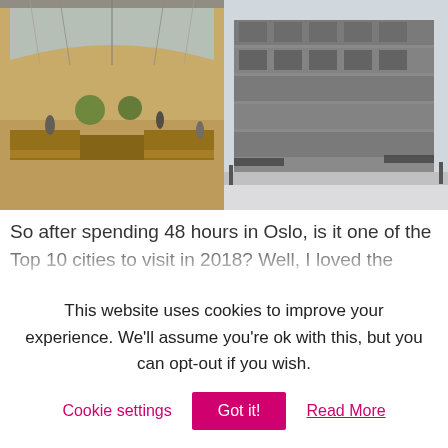[Figure (photo): Interior of a large market hall with high glass ceiling, market stalls and people]
[Figure (photo): Modern apartment buildings along a waterfront street in Oslo, Aker Brygge area]
So after spending 48 hours in Oslo, is it one of the Top 10 cities to visit in 2018? Well, I loved the areas I did have time to see and would highly recommend exploring Aker Brygge and walking from the Central Station up Karl Johans gate to the Royal Palace. I certainly plan to return one day and when I do, it'll be to take a boat trip out
This website uses cookies to improve your experience. We'll assume you're ok with this, but you can opt-out if you wish.
Cookie settings
Got it!
Read More